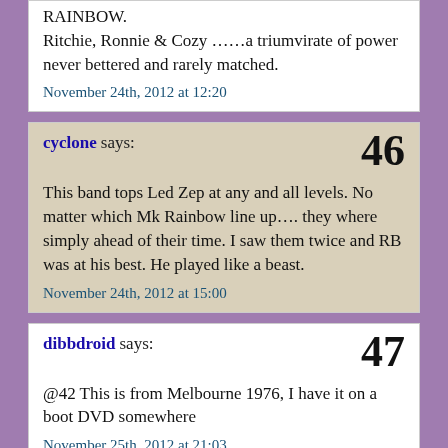RAINBOW.
Ritchie, Ronnie & Cozy ……a triumvirate of power never bettered and rarely matched.
November 24th, 2012 at 12:20
cyclone says: 46
This band tops Led Zep at any and all levels. No matter which Mk Rainbow line up…. they where simply ahead of their time. I saw them twice and RB was at his best. He played like a beast.
November 24th, 2012 at 15:00
dibbdroid says: 47
@42 This is from Melbourne 1976, I have it on a boot DVD somewhere
November 25th, 2012 at 21:03
purrfect stranger says: 48